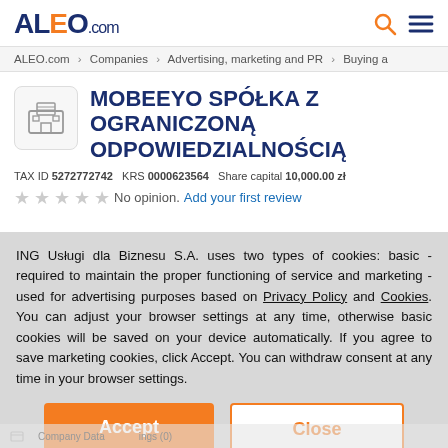ALEO.com — header with search and menu icons
ALEO.com > Companies > Advertising, marketing and PR > Buying a...
MOBEEYO SPÓŁKA Z OGRANICZONĄ ODPOWIEDZIALNOŚCIĄ
TAX ID 5272772742   KRS 0000623564   Share capital 10,000.00 zł
★★★★★ No opinion. Add your first review
ING Usługi dla Biznesu S.A. uses two types of cookies: basic - required to maintain the proper functioning of service and marketing - used for advertising purposes based on Privacy Policy and Cookies. You can adjust your browser settings at any time, otherwise basic cookies will be saved on your device automatically. If you agree to save marketing cookies, click Accept. You can withdraw consent at any time in your browser settings.